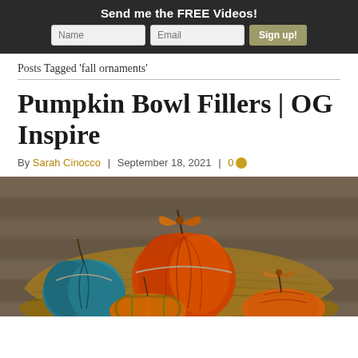Send me the FREE Videos! [Name] [Email] [Sign up!]
Posts Tagged 'fall ornaments'
Pumpkin Bowl Fillers | OG Inspire
By Sarah Cinocco | September 18, 2021 | 0
[Figure (photo): Several handmade fabric pumpkins in a wicker basket on a wooden surface. The pumpkins are made from various fabrics including solid teal/blue, solid orange, plaid in green/orange/red, and patterned orange fabric, each tied with twine and decorated with stick stems and fabric bows.]